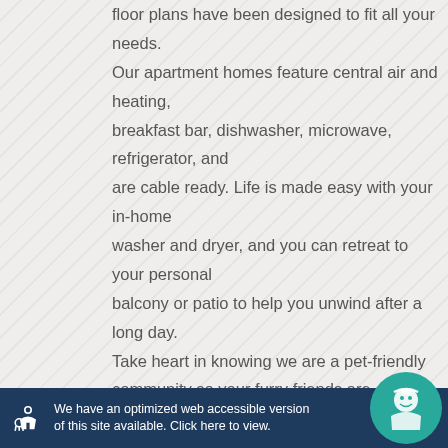floor plans have been designed to fit all your needs. Our apartment homes feature central air and heating, breakfast bar, dishwasher, microwave, refrigerator, and are cable ready. Life is made easy with your in-home washer and dryer, and you can retreat to your personal balcony or patio to help you unwind after a long day. Take heart in knowing we are a pet-friendly community so your furry friends are welcome too.

Our residents are delighted with the many community amenities we have to offer. Invite family
[Figure (other): Popup overlay box with close button (X) and text: Welcome to Our Community! Click Here to Schedule a Tour.]
your mind and body in our state-of-the-art fitnes…
We have an optimized web accessible version of this site available. Click here to view.